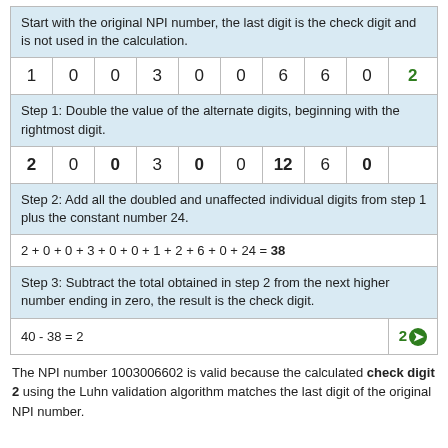Start with the original NPI number, the last digit is the check digit and is not used in the calculation.
| 1 | 0 | 0 | 3 | 0 | 0 | 6 | 6 | 0 | 2 |
| --- | --- | --- | --- | --- | --- | --- | --- | --- | --- |
Step 1: Double the value of the alternate digits, beginning with the rightmost digit.
| 2 | 0 | 0 | 3 | 0 | 0 | 12 | 6 | 0 |  |
| --- | --- | --- | --- | --- | --- | --- | --- | --- | --- |
Step 2: Add all the doubled and unaffected individual digits from step 1 plus the constant number 24.
Step 3: Subtract the total obtained in step 2 from the next higher number ending in zero, the result is the check digit.
The NPI number 1003006602 is valid because the calculated check digit 2 using the Luhn validation algorithm matches the last digit of the original NPI number.